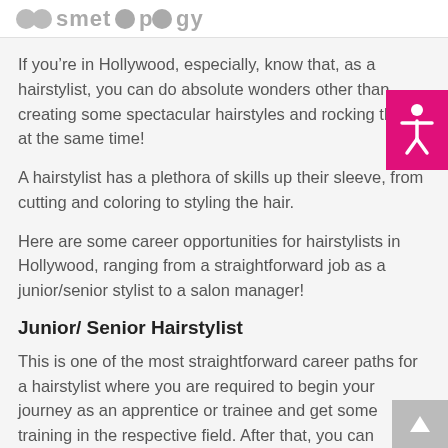cosmetology
If you’re in Hollywood, especially, know that, as a hairstylist, you can do absolute wonders other than creating some spectacular hairstyles and rocking them at the same time!
A hairstylist has a plethora of skills up their sleeve, from cutting and coloring to styling the hair.
Here are some career opportunities for hairstylists in Hollywood, ranging from a straightforward job as a junior/senior stylist to a salon manager!
Junior/ Senior Hairstylist
This is one of the most straightforward career paths for a hairstylist where you are required to begin your journey as an apprentice or trainee and get some training in the respective field. After that, you can